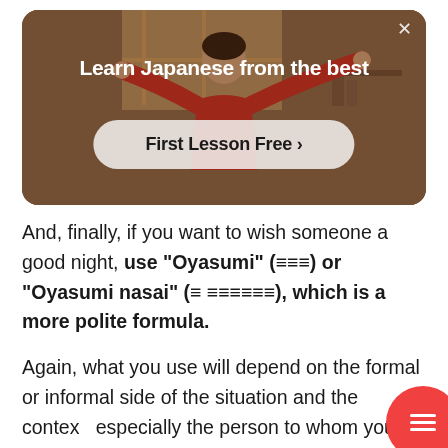[Figure (screenshot): Advertisement banner for Japanese language learning. Shows a person in a red outfit with arms outstretched against a warm-toned background. Text reads 'Learn Japanese from the best' with a 'First Lesson Free >' button. An X close button is in the top right corner.]
And, finally, if you want to wish someone a good night, use "Oyasumi" (おやすみ) or "Oyasumi nasai" (おやすみなさい), which is a more polite formula.
Again, what you use will depend on the formal or informal side of the situation and the contex especially the person to whom you want to wish a good night.